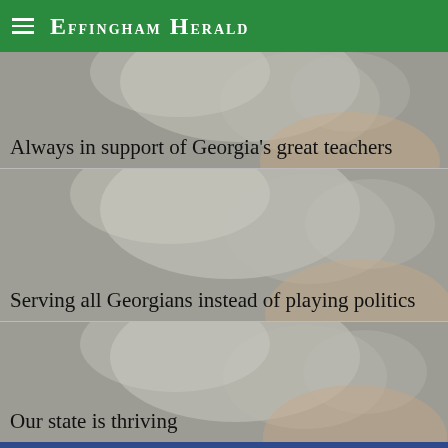Effingham Herald
[Figure (photo): Photo of a person with blonde/white hair — article card 1]
Always in support of Georgia's great teachers
[Figure (photo): Photo of a person with blonde/white hair — article card 2]
Serving all Georgians instead of playing politics
[Figure (photo): Photo of a person with blonde/white hair — article card 3]
Our state is thriving